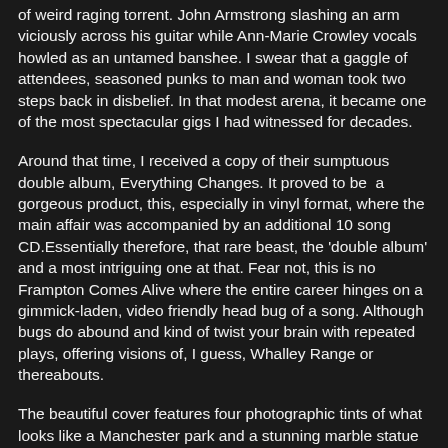of weird raging torrent. John Armstrong slashing an arm viciously across his guitar while Ann-Marie Crowley vocals howled as an untamed banshee. I swear that a gaggle of attendees, seasoned punks to man and woman took two steps back in disbelief. In that modest arena, it became one of the most spectacular gigs I had witnessed for decades.
Around that time, I received a copy of their sumptuous double album, Everything Changes. It proved to be  a gorgeous product, this, especially in vinyl format, where the main affair was accompanied by an additional 10 song CD.Essentially therefore, that rare beast, the 'double album' and a most intriguing one at that. Fear not, this is no Frampton Comes Alive where the entire career hinges on a gimmick-laden, video friendly head bug of a song. Although bugs do abound and kind of twist your brain with repeated plays, offering visions of, I guess, Whalley Range or thereabouts.
The beautiful cover features four photographic tints of what looks like a Manchester park and a stunning marble statue on the reverse. There is more: A lyric-heavy inner-sleeve neatly overlays undoctored images of the band who also